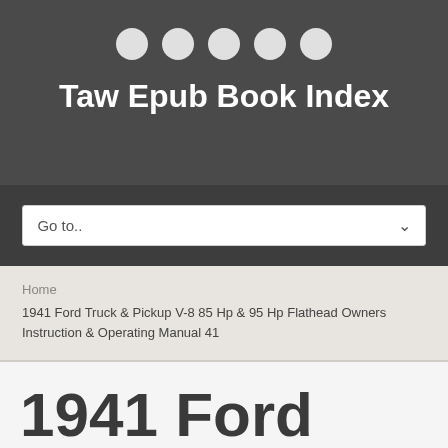[Figure (other): Five white circular dots in a row on dark grey background, serving as navigation indicators]
Taw Epub Book Index
Go to..
Home
1941 Ford Truck & Pickup V-8 85 Hp & 95 Hp Flathead Owners Instruction & Operating Manual 41
1941 Ford